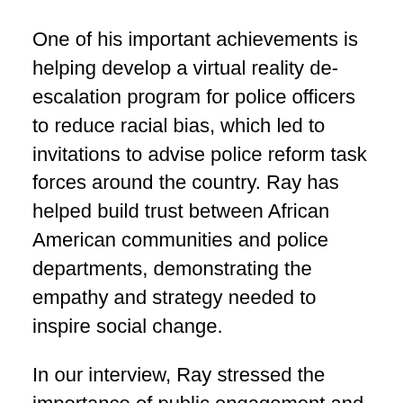One of his important achievements is helping develop a virtual reality de-escalation program for police officers to reduce racial bias, which led to invitations to advise police reform task forces around the country. Ray has helped build trust between African American communities and police departments, demonstrating the empathy and strategy needed to inspire social change.
In our interview, Ray stressed the importance of public engagement and offered suggestions for researchers who would like to do more engagement.
“In this era of misinformation and political polarization, it is a must that academics share research outside of the confines of the Ivory Tower,” he said. “Take research articles and package them as op-eds and